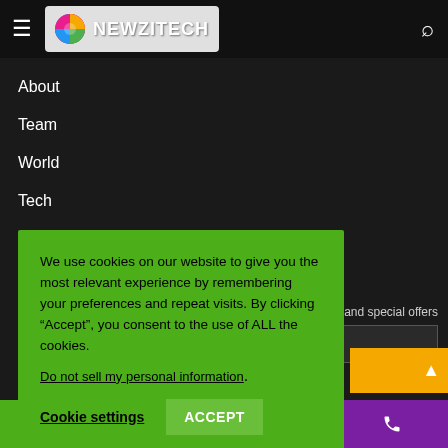NewziTech navigation header with hamburger menu and search icon
About
Team
World
Tech
Buy now!
s and special offers
We use cookies on our website to give you the most relevant experience by remembering your preferences and repeat visits. By clicking “Accept”, you consent to the use of ALL the cookies.

Do not sell my personal information.

Cookie settings   ACCEPT